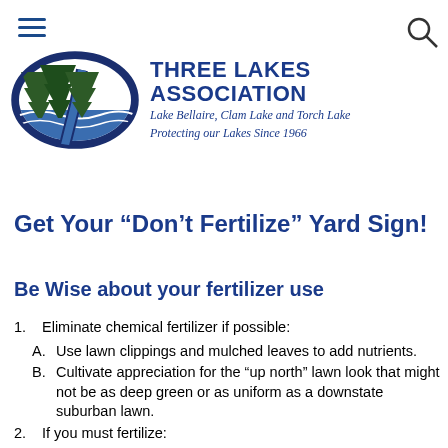THREE LAKES ASSOCIATION — Lake Bellaire, Clam Lake and Torch Lake — Protecting our Lakes Since 1966
Get Your “Don’t Fertilize” Yard Sign!
Be Wise about your fertilizer use
1. Eliminate chemical fertilizer if possible:
A. Use lawn clippings and mulched leaves to add nutrients.
B. Cultivate appreciation for the “up north” lawn look that might not be as deep green or as uniform as a downstate suburban lawn.
2. If you must fertilize:
A. Fertilize only as much as necessary, according to